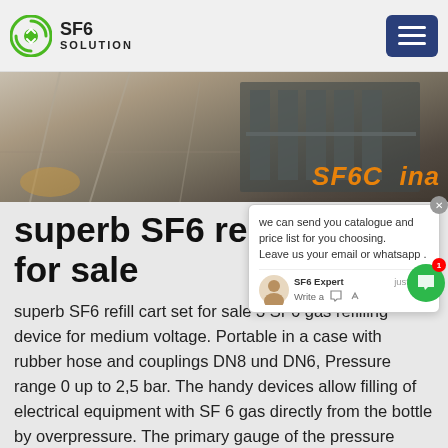SF6 SOLUTION
[Figure (photo): Industrial facility interior with metal shelving and equipment; orange text overlay reading SF6China]
we can send you catalogue and price list for you choosing. Leave us your email or whatsapp .
superb SF6 refill cart for sale
superb SF6 refill cart set for sale 3 SF6 gas refilling device for medium voltage. Portable in a case with rubber hose and couplings DN8 und DN6, Pressure range 0 up to 2,5 bar. The handy devices allow filling of electrical equipment with SF 6 gas directly from the bottle by overpressure. The primary gauge of the pressure reducer displays the bottle pressure in bar, psi